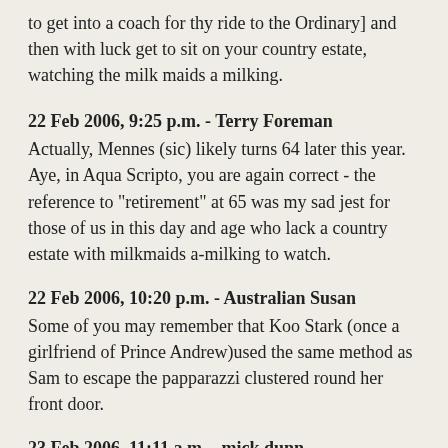to get into a coach for thy ride to the Ordinary] and then with luck get to sit on your country estate, watching the milk maids a milking.
22 Feb 2006, 9:25 p.m. - Terry Foreman
Actually, Mennes (sic) likely turns 64 later this year. Aye, in Aqua Scripto, you are again correct - the reference to "retirement" at 65 was my sad jest for those of us in this day and age who lack a country estate with milkmaids a-milking to watch.
22 Feb 2006, 10:20 p.m. - Australian Susan
Some of you may remember that Koo Stark (once a girlfriend of Prince Andrew)used the same method as Sam to escape the papparazzi clustered round her front door.
23 Feb 2006, 11:11 a.m. - mick dunn
Mennes age. He could be regarded as fairly seriously aged given that the average life expectancy during the period for males was less than 40. Memebers of his class would